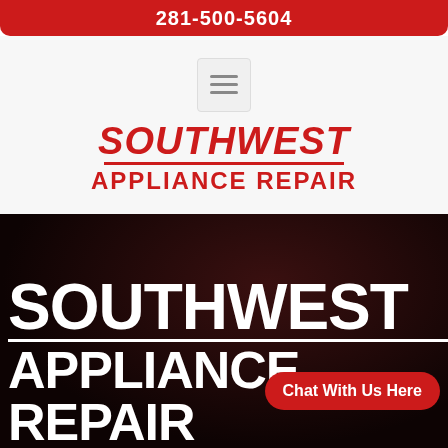281-500-5604
[Figure (screenshot): Hamburger menu icon (three horizontal lines) inside a light gray square box]
SOUTHWEST APPLIANCE REPAIR
[Figure (photo): Dark red/black blurred background hero section with large white text 'SOUTHWEST APPLIANCE REPAIR' and a red 'Chat With Us Here' button overlay]